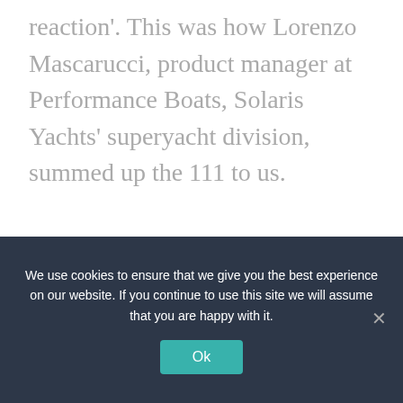reaction'. This was how Lorenzo Mascarucci, product manager at Performance Boats, Solaris Yachts' superyacht division, summed up the 111 to us.
We use cookies to ensure that we give you the best experience on our website. If you continue to use this site we will assume that you are happy with it.